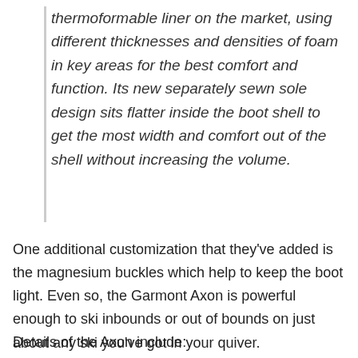thermoformable liner on the market, using different thicknesses and densities of foam in key areas for the best comfort and function. Its new separately sewn sole design sits flatter inside the boot shell to get the most width and comfort out of the shell without increasing the volume.
One additional customization that they've added is the magnesium buckles which help to keep the boot light. Even so, the Garmont Axon is powerful enough to ski inbounds or out of bounds on just about any ski you've got in your quiver.
Details of the Axon include: